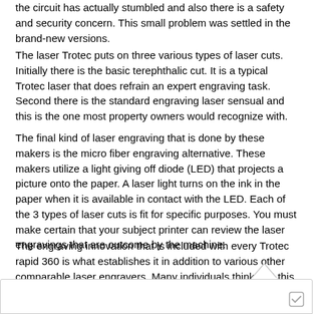the circuit has actually stumbled and also there is a safety and security concern. This small problem was settled in the brand-new versions.
The laser Trotec puts on three various types of laser cuts. Initially there is the basic terephthalic cut. It is a typical Trotec laser that does refrain an expert engraving task. Second there is the standard engraving laser sensual and this is the one most property owners would recognize with.
The final kind of laser engraving that is done by these makers is the micro fiber engraving alternative. These makers utilize a light giving off diode (LED) that projects a picture onto the paper. A laser light turns on the ink in the paper when it is available in contact with the LED. Each of the 3 types of laser cuts is fit for specific purposes. You must make certain that your subject printer can review the laser engravings that are outcome by the machine.
The engraving innovation that is included with every Trotec rapid 360 is what establishes it in addition to various other comparable laser engravers. Many individuals think that this specific sort of laser cutter is the most effective. Although, there are those who choose the standard engraving laser soldiers due to the fact that they really feel that they are more functional. They also value the truth that these lasers take less time to function. Therefore, it depends on the